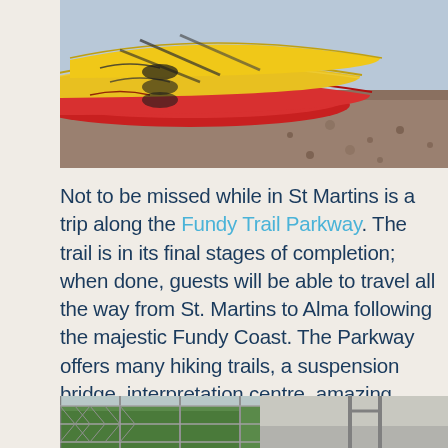[Figure (photo): Colorful kayaks (yellow and red) resting on a pebbly/rocky beach shoreline]
Not to be missed while in St Martins is a trip along the Fundy Trail Parkway. The trail is in its final stages of completion; when done, guests will be able to travel all the way from St. Martins to Alma following the majestic Fundy Coast. The Parkway offers many hiking trails, a suspension bridge, interpretation centre, amazing views and lookouts, a sea captain's burial ground, a heritage sawmill display, and beautiful discovery beaches.
[Figure (photo): Partial view of a chain-link fence with green foliage visible, appears to be a park or outdoor area]